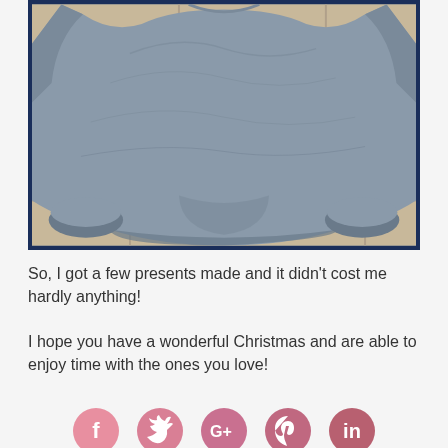[Figure (photo): A gray sweatshirt laid flat on a tiled floor, viewed from below showing the hem and cuffs folded up, with a dark navy border frame around the photo.]
So, I got a few presents made and it didn't cost me hardly anything!
I hope you have a wonderful Christmas and are able to enjoy time with the ones you love!
[Figure (illustration): Five pink circular social media icons: Facebook, Twitter, Google+, Pinterest, and another platform.]